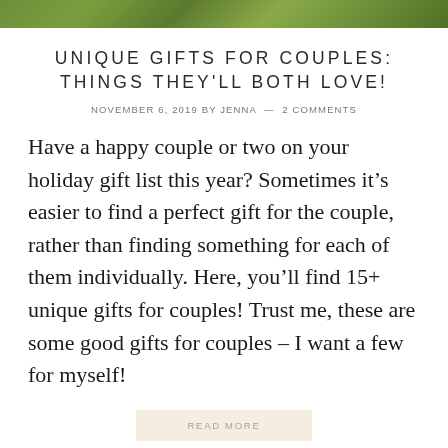[Figure (photo): Green outdoor/nature image strip at the top of the page]
UNIQUE GIFTS FOR COUPLES: THINGS THEY'LL BOTH LOVE!
NOVEMBER 6, 2019 BY JENNA — 2 COMMENTS
Have a happy couple or two on your holiday gift list this year? Sometimes it's easier to find a perfect gift for the couple, rather than finding something for each of them individually. Here, you'll find 15+ unique gifts for couples! Trust me, these are some good gifts for couples – I want a few for myself!
READ MORE